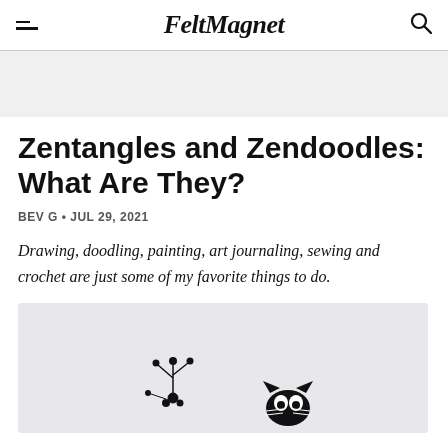FeltMagnet
Zentangles and Zendoodles: What Are They?
BEV G • JUL 29, 2021
Drawing, doodling, painting, art journaling, sewing and crochet are just some of my favorite things to do.
[Figure (illustration): A partial illustration of zentangle or zendoodle art showing black ink doodle drawings on a light gray background, visible at the bottom of the page.]